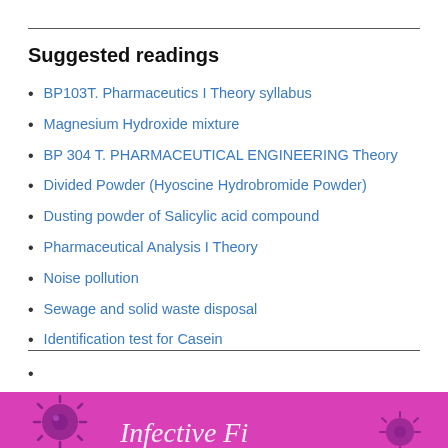Suggested readings
BP103T. Pharmaceutics I Theory syllabus
Magnesium Hydroxide mixture
BP 304 T. PHARMACEUTICAL ENGINEERING Theory
Divided Powder (Hyoscine Hydrobromide Powder)
Dusting powder of Salicylic acid compound
Pharmaceutical Analysis I Theory
Noise pollution
Sewage and solid waste disposal
Identification test for Casein
[Figure (illustration): Pink/magenta banner with virus/coronavirus decorative icons]